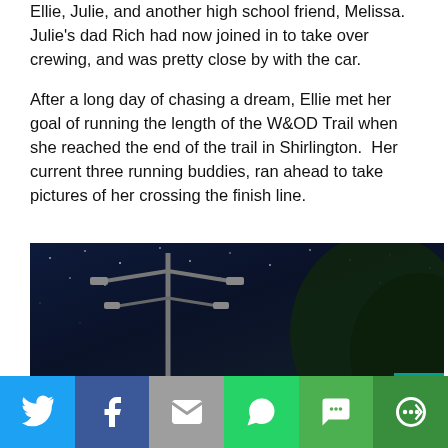Ellie, Julie, and another high school friend, Melissa. Julie's dad Rich had now joined in to take over crewing, and was pretty close by with the car.
After a long day of chasing a dream, Ellie met her goal of running the length of the W&OD Trail when she reached the end of the trail in Shirlington.  Her current three running buddies, ran ahead to take pictures of her crossing the finish line.
[Figure (photo): Nighttime outdoor photo showing a tall street lamp with multiple arms against a dark blue night sky. Trees visible on the right side. Warm orange street lights glow in the lower left and lower right. A small teal overlay in the bottom right corner.]
Social sharing bar with icons for Twitter, Facebook, Email, WhatsApp, SMS, and More